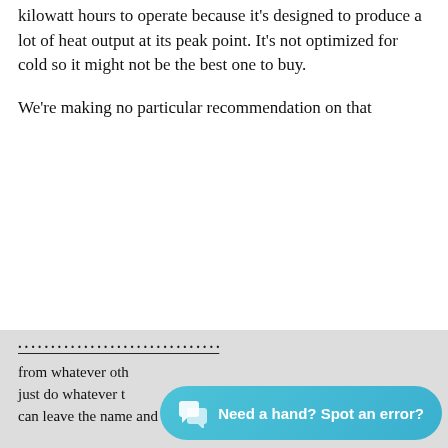kilowatt hours to operate because it's designed to produce a lot of heat output at its peak point. It's not optimized for cold so it might not be the best one to buy.
We're making no particular recommendation on that
Subscribe To Our Newsletter
Email Address *
Zip code (optional, for news of events)
SUBSCRIBE
from whatever oth... just do whatever t... can leave the name and know that it's really a
Need a hand? Spot an error?